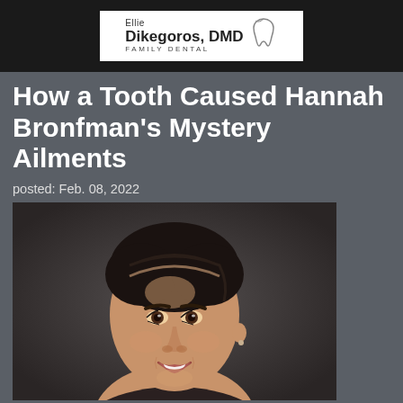[Figure (logo): Ellie Dikegoros DMD Family Dental logo in white box on black bar]
How a Tooth Caused Hannah Bronfman's Mystery Ailments
posted: Feb. 08, 2022
[Figure (photo): Portrait photo of Hannah Bronfman smiling, dark background]